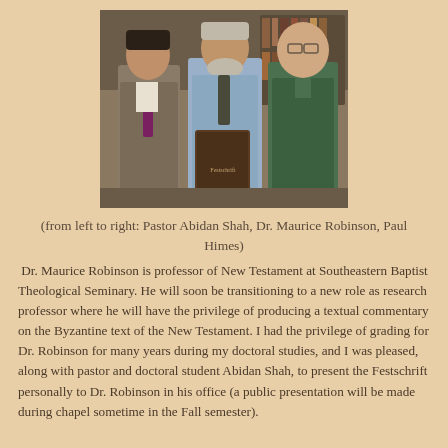[Figure (photo): A photograph of three men standing together. From left to right: Pastor Abidan Shah in a suit, Dr. Maurice Robinson in a blue shirt holding a book, and Paul Himes in a green polo shirt.]
(from left to right: Pastor Abidan Shah, Dr. Maurice Robinson, Paul Himes)
Dr. Maurice Robinson is professor of New Testament at Southeastern Baptist Theological Seminary. He will soon be transitioning to a new role as research professor where he will have the privilege of producing a textual commentary on the Byzantine text of the New Testament. I had the privilege of grading for Dr. Robinson for many years during my doctoral studies, and I was pleased, along with pastor and doctoral student Abidan Shah, to present the Festschrift personally to Dr. Robinson in his office (a public presentation will be made during chapel sometime in the Fall semester).